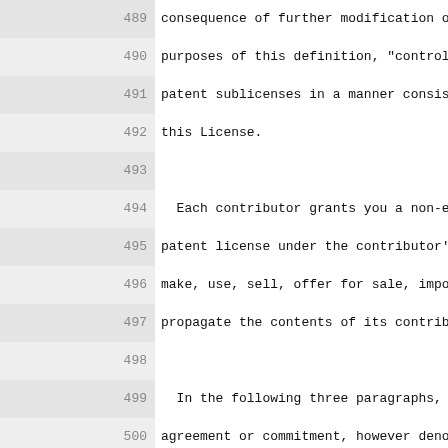489 consequence of further modification of the co
490 purposes of this definition, "control" includ
491 patent sublicenses in a manner consistent wit
492 this License.
493
494   Each contributor grants you a non-exclusive
495 patent license under the contributor's essent
496 make, use, sell, offer for sale, import and o
497 propagate the contents of its contributor ver
498
499   In the following three paragraphs, a "paten
500 agreement or commitment, however denominated,
501 (such as an express permission to practice a
502 sue for patent infringement).  To "grant" suc
503 party means to make such an agreement or comm
504 patent against the party.
505
506   If you convey a covered work, knowingly rel
507 and the Corresponding Source of the work is n
508 to copy, free of charge and under the terms o
509 publicly available network server or other re
510 then you must either (1) cause the Correspone
511 available, or (2) arrange to deprive yoursel